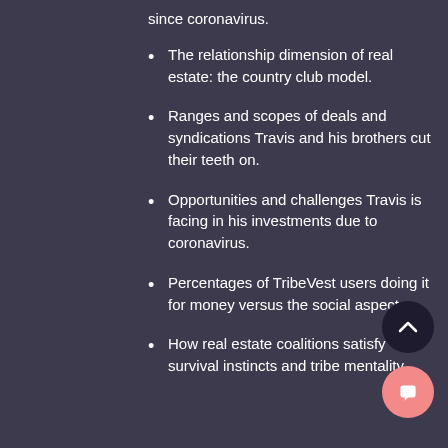since coronavirus.
The relationship dimension of real estate: the country club model.
Ranges and scopes of deals and syndications Travis and his brothers cut their teeth on.
Opportunities and challenges Travis is facing in his investments due to coronavirus.
Percentages of TribeVest users doing it for money versus the social aspect.
How real estate coalitions satisfy survival instincts and tribe mentality.